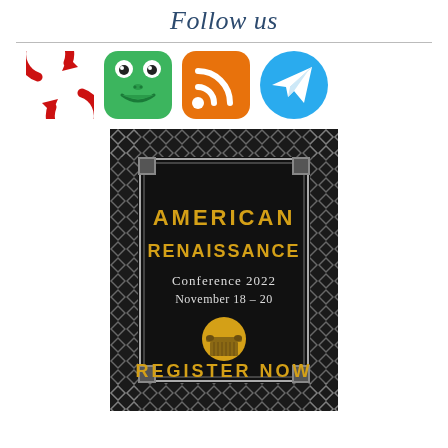Follow us
[Figure (illustration): Four social media icons in a row: a red circular arrow icon (Gab/Minds), a green frog face icon (Frogger/Pepe), an orange RSS feed icon, and a blue Telegram paper plane icon.]
[Figure (illustration): American Renaissance Conference 2022 promotional poster with Art Deco border on black background. Yellow Art Deco lettering reads 'AMERICAN RENAISSANCE'. Below: 'Conference 2022' and 'November 18 – 20'. Gold column capital icon on yellow circle. Bottom text: 'REGISTER NOW'.]